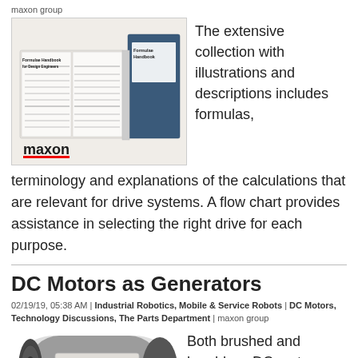maxon group
[Figure (photo): Formulae Handbook for Design Engineers book shown open with maxon logo and red underline, cover shows title text and a blue handbook cover]
The extensive collection with illustrations and descriptions includes formulas, terminology and explanations of the calculations that are relevant for drive systems. A flow chart provides assistance in selecting the right drive for each purpose.
DC Motors as Generators
02/19/19, 05:38 AM | Industrial Robotics, Mobile & Service Robots | DC Motors, Technology Discussions, The Parts Department | maxon group
[Figure (photo): Maxon DC-max motor with label showing 123456 series made]
Both brushed and brushless DC motors can be